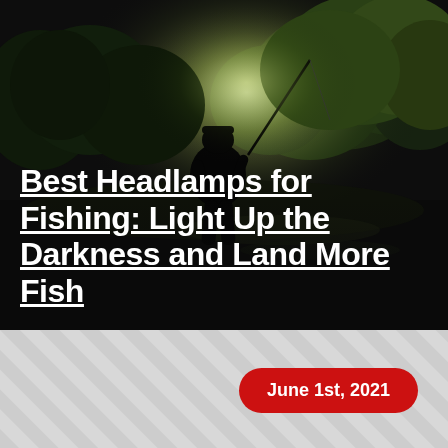[Figure (photo): Night scene: silhouette of a person fishing against illuminated trees and dark sky, with bright light behind them]
Best Headlamps for Fishing: Light Up the Darkness and Land More Fish
June 1st, 2021